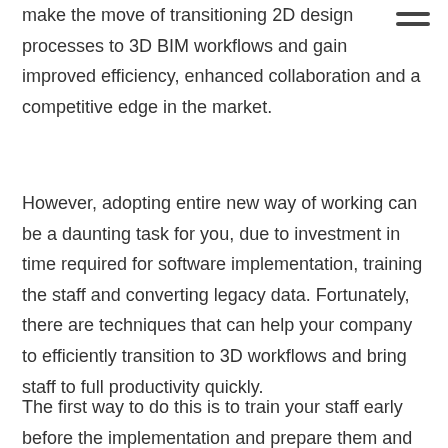…is the right time for steel detailing companies to make the move of transitioning 2D design processes to 3D BIM workflows and gain improved efficiency, enhanced collaboration and a competitive edge in the market.
However, adopting entire new way of working can be a daunting task for you, due to investment in time required for software implementation, training the staff and converting legacy data. Fortunately, there are techniques that can help your company to efficiently transition to 3D workflows and bring staff to full productivity quickly.
The first way to do this is to train your staff early before the implementation and prepare them and